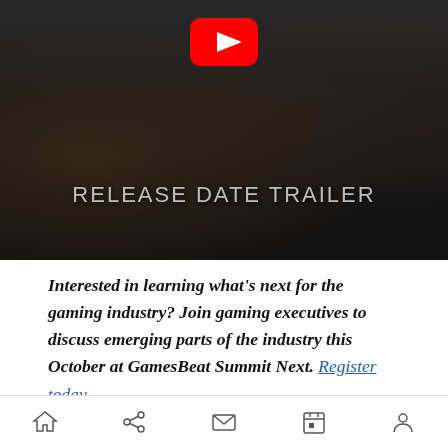[Figure (screenshot): YouTube video thumbnail showing a dark fantasy game scene with the text 'RELEASE DATE TRAILER' overlaid. A YouTube play button logo is visible at the top center.]
Interested in learning what's next for the gaming industry? Join gaming executives to discuss emerging parts of the industry this October at GamesBeat Summit Next. Register today.
11 Bit Studios is bringing a late chill this spring
Home | Share | Mail | Calendar | Profile